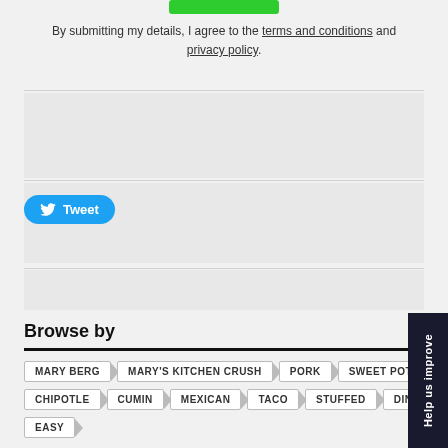By submitting my details, I agree to the terms and conditions and privacy policy.
[Figure (screenshot): Twitter Tweet button (blue rounded pill shape with Twitter bird icon)]
Browse by
MARY BERG
MARY'S KITCHEN CRUSH
PORK
SWEET POTATO
CHIPOTLE
CUMIN
MEXICAN
TACO
STUFFED
DINNER
EASY